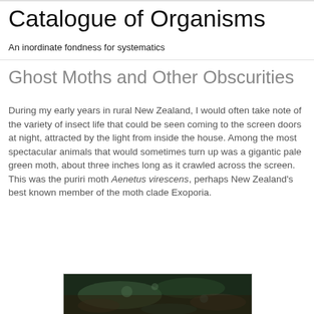Catalogue of Organisms
An inordinate fondness for systematics
Ghost Moths and Other Obscurities
During my early years in rural New Zealand, I would often take note of the variety of insect life that could be seen coming to the screen doors at night, attracted by the light from inside the house. Among the most spectacular animals that would sometimes turn up was a gigantic pale green moth, about three inches long as it crawled across the screen. This was the puriri moth Aenetus virescens, perhaps New Zealand's best known member of the moth clade Exoporia.
[Figure (photo): Photograph of puriri moth Aenetus virescens on bark or natural surface, partially visible at bottom of page]